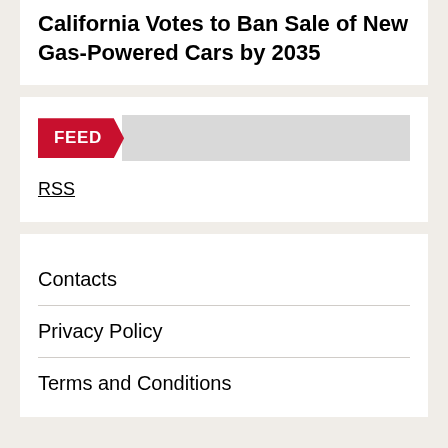California Votes to Ban Sale of New Gas-Powered Cars by 2035
FEED
RSS
Contacts
Privacy Policy
Terms and Conditions